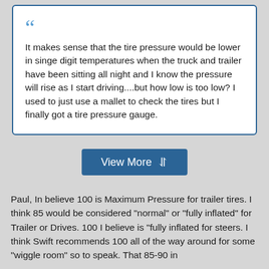It makes sense that the tire pressure would be lower in singe digit temperatures when the truck and trailer have been sitting all night and I know the pressure will rise as I start driving....but how low is too low? I used to just use a mallet to check the tires but I finally got a tire pressure gauge.
View More
Paul, In believe 100 is Maximum Pressure for trailer tires. I think 85 would be considered "normal" or "fully inflated" for Trailer or Drives. 100 I believe is "fully inflated for steers. I think Swift recommends 100 all of the way around for some "wiggle room" so to speak. That 85-90 in